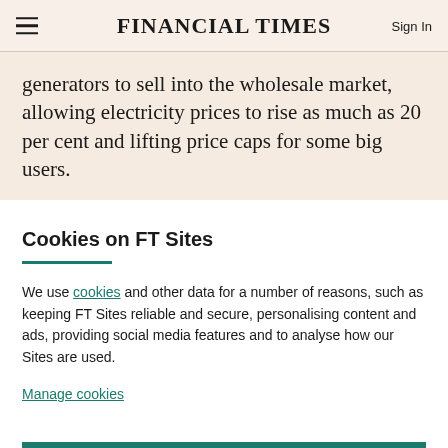FINANCIAL TIMES
generators to sell into the wholesale market, allowing electricity prices to rise as much as 20 per cent and lifting price caps for some big users.
Cookies on FT Sites
We use cookies and other data for a number of reasons, such as keeping FT Sites reliable and secure, personalising content and ads, providing social media features and to analyse how our Sites are used.
Manage cookies
Accept & continue